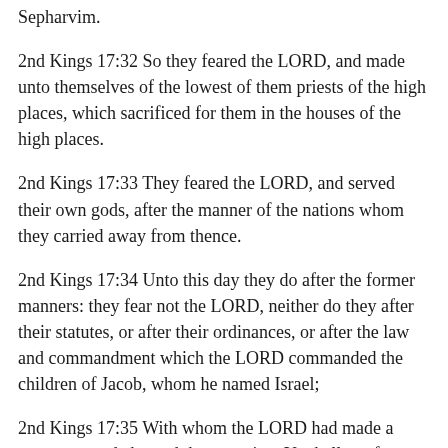Sepharvim.
2nd Kings 17:32 So they feared the LORD, and made unto themselves of the lowest of them priests of the high places, which sacrificed for them in the houses of the high places.
2nd Kings 17:33 They feared the LORD, and served their own gods, after the manner of the nations whom they carried away from thence.
2nd Kings 17:34 Unto this day they do after the former manners: they fear not the LORD, neither do they after their statutes, or after their ordinances, or after the law and commandment which the LORD commanded the children of Jacob, whom he named Israel;
2nd Kings 17:35 With whom the LORD had made a covenant, and charged them, saying, Ye shall not fear other gods, nor bow yourselves to them, nor serve them, nor sacrifice to them:
2nd Kings 17:36 But the LORD, who brought you up out of the land of Egypt with great power and a stretched out arm, him shall ye fear, and him shall ye